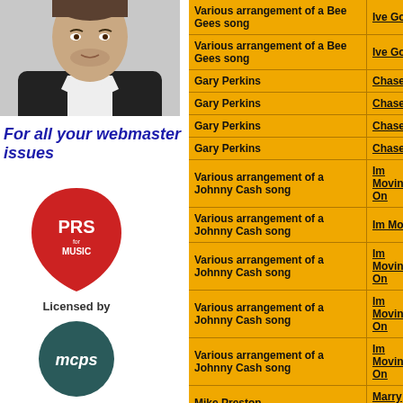[Figure (photo): Portrait photo of a man in a dark jacket and white shirt]
For all your webmaster issues
[Figure (logo): PRS for Music logo - red guitar pick shape with PRS for MUSIC text]
Licensed by
[Figure (logo): MCPS logo - dark teal circle with mcps text]
| Artist/Arrangement | Song Title |
| --- | --- |
| Various arrangement of a Bee Gees song | Ive Gotta Get A Me |
| Various arrangement of a Bee Gees song | Ive Gotta Get A Me |
| Gary Perkins | Chase Me Around |
| Gary Perkins | Chase Me Around |
| Gary Perkins | Chase Me Around |
| Gary Perkins | Chase Me Around |
| Various arrangement of a Johnny Cash song | Im Moving On |
| Various arrangement of a Johnny Cash song | Im Moving On (No |
| Various arrangement of a Johnny Cash song | Im Moving On |
| Various arrangement of a Johnny Cash song | Im Moving On |
| Various arrangement of a Johnny Cash song | Im Moving On |
| Mike Preston | Marry Me |
| Mike Preston | Marry Me |
| Mike Preston | Marry Me |
| Mike Preston | Marry Me |
| Various arrangement of a Joe Dolan song | Pretty Brown Eyes |
| Various arrangement of a Joe Dolan song | Pretty Brown Eyes |
| Various arrangement of a Joe | Pretty Brown Eyes |